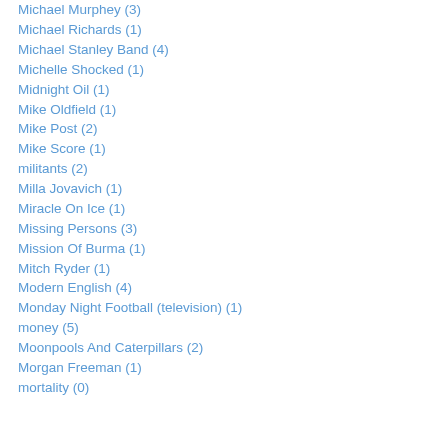Michael Murphey (3)
Michael Richards (1)
Michael Stanley Band (4)
Michelle Shocked (1)
Midnight Oil (1)
Mike Oldfield (1)
Mike Post (2)
Mike Score (1)
militants (2)
Milla Jovavich (1)
Miracle On Ice (1)
Missing Persons (3)
Mission Of Burma (1)
Mitch Ryder (1)
Modern English (4)
Monday Night Football (television) (1)
money (5)
Moonpools And Caterpillars (2)
Morgan Freeman (1)
mortality (0)